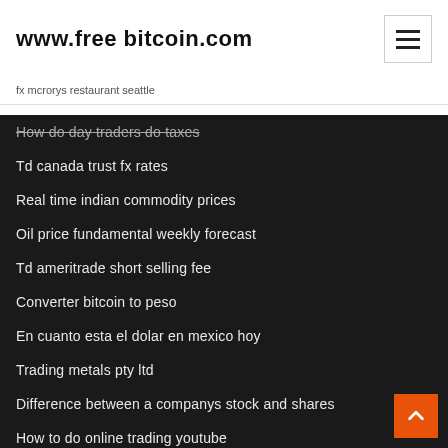www.free bitcoin.com
fx mcrorys restaurant seattle
How do day traders do taxes
Td canada trust fx rates
Real time indian commodity prices
Oil price fundamental weekly forecast
Td ameritrade short selling fee
Converter bitcoin to peso
En cuanto esta el dolar en mexico hoy
Trading metals pty ltd
Difference between a companys stock and shares
How to do online trading youtube
After hours stock market trading